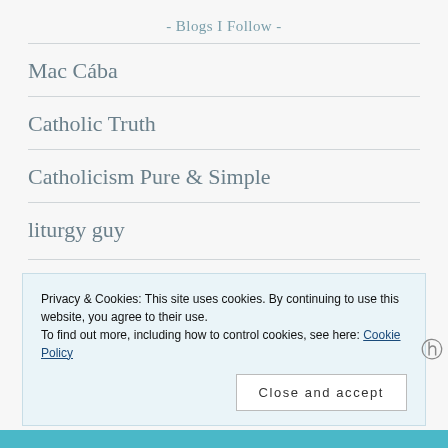- Blogs I Follow -
Mac Cába
Catholic Truth
Catholicism Pure & Simple
liturgy guy
Privacy & Cookies: This site uses cookies. By continuing to use this website, you agree to their use.
To find out more, including how to control cookies, see here: Cookie Policy
Close and accept